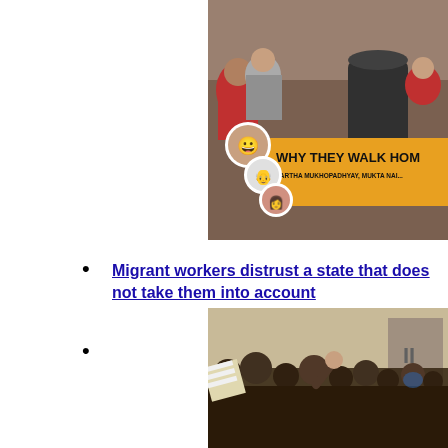[Figure (photo): Book cover or article thumbnail showing migrant workers on a truck with the text 'WHY THEY WALK HOM' and 'PARTHA MUKHOPADHYAY, MUKTA NAI' on an orange banner, with three circular author portraits]
Migrant workers distrust a state that does not take them into account
[Figure (photo): Crowd of people, appearing to be migrant workers, pressing forward near a building]